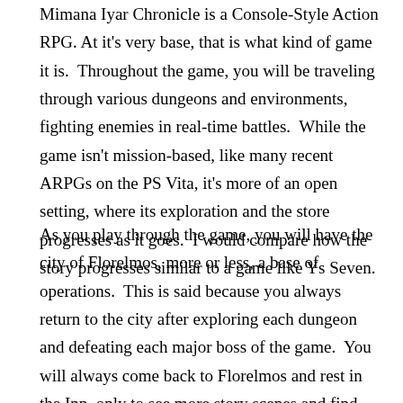Mimana Iyar Chronicle is a Console-Style Action RPG. At it's very base, that is what kind of game it is. Throughout the game, you will be traveling through various dungeons and environments, fighting enemies in real-time battles. While the game isn't mission-based, like many recent ARPGs on the PS Vita, it's more of an open setting, where its exploration and the store progresses as it goes. I would compare how the story progresses similar to a game like Ys Seven.
As you play through the game, you will have the city of Florelmos, more or less, a base of operations. This is said because you always return to the city after exploring each dungeon and defeating each major boss of the game. You will always come back to Florelmos and rest in the Inn, only to see more story scenes and find out your next target location.
The story sort of progresses in chapters, based on each major dungeon you explore. This is because you get new story scenes after you complete each one, and all of the shops in Florelmos will